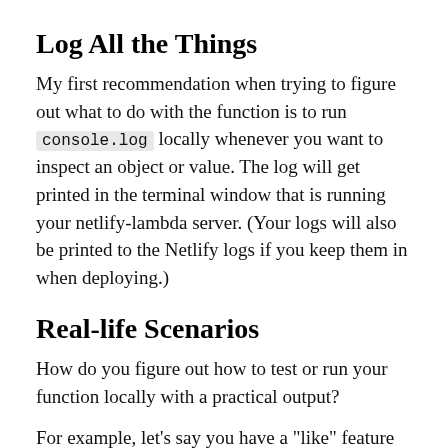Log All the Things
My first recommendation when trying to figure out what to do with the function is to run console.log locally whenever you want to inspect an object or value. The log will get printed in the terminal window that is running your netlify-lambda server. (Your logs will also be printed to the Netlify logs if you keep them in when deploying.)
Real-life Scenarios
How do you figure out how to test or run your function locally with a practical output?
For example, let's say you have a "like" feature on your site, and every time a user clicks the "like" button you...